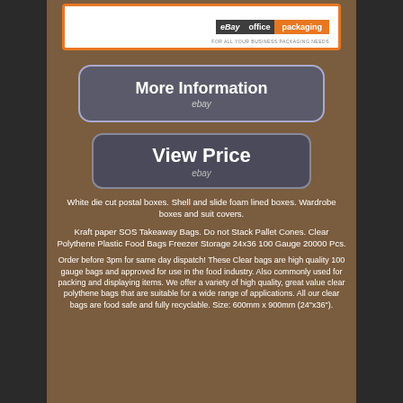[Figure (logo): eBay Office Packaging banner logo with orange border on white background]
[Figure (screenshot): More Information button with eBay branding, grey/purple rounded rectangle]
[Figure (screenshot): View Price button with eBay branding, dark rounded rectangle]
White die cut postal boxes. Shell and slide foam lined boxes. Wardrobe boxes and suit covers.
Kraft paper SOS Takeaway Bags. Do not Stack Pallet Cones. Clear Polythene Plastic Food Bags Freezer Storage 24x36 100 Gauge 20000 Pcs.
Order before 3pm for same day dispatch! These Clear bags are high quality 100 gauge bags and approved for use in the food industry. Also commonly used for packing and displaying items. We offer a variety of high quality, great value clear polythene bags that are suitable for a wide range of applications. All our clear bags are food safe and fully recyclable. Size: 600mm x 900mm (24"x36"). Thickness: 100 Gauge / 25 Micron.